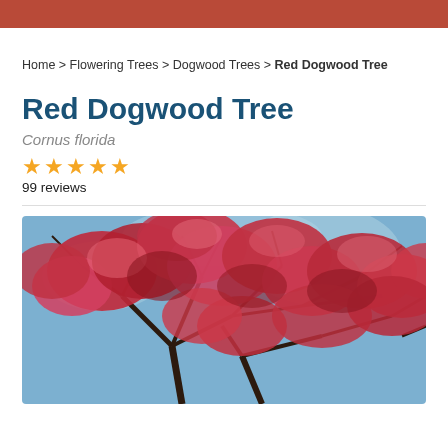Home > Flowering Trees > Dogwood Trees > Red Dogwood Tree
Red Dogwood Tree
Cornus florida
★★★★★
99 reviews
[Figure (photo): A red dogwood tree in full bloom with vivid red/pink blossoms against a blue sky, branches spreading across the frame.]